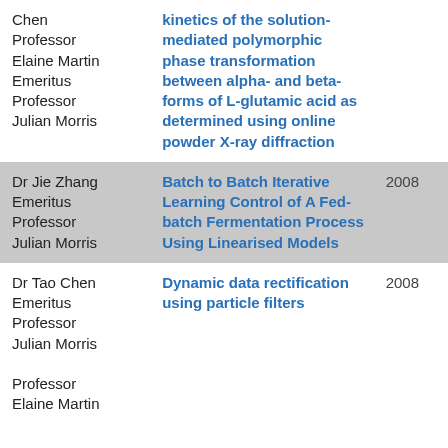| Name | Title | Year |
| --- | --- | --- |
| Chen Professor Elaine Martin Emeritus Professor Julian Morris | kinetics of the solution-mediated polymorphic phase transformation between alpha- and beta-forms of L-glutamic acid as determined using online powder X-ray diffraction |  |
| Dr Jie Zhang Emeritus Professor Julian Morris | Batch to Batch Iterative Learning Control of A Fed-batch Fermentation Process Using Linearised Models | 2008 |
| Dr Tao Chen Emeritus Professor Julian Morris Professor Elaine Martin | Dynamic data rectification using particle filters | 2008 |